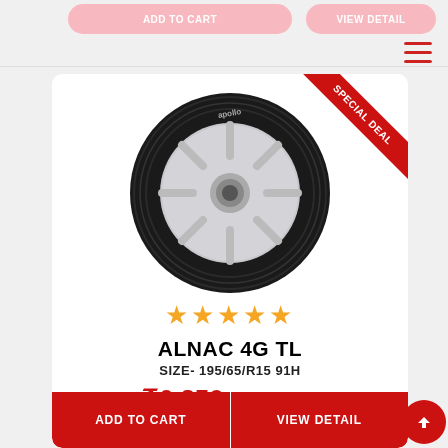ADD TO CART
VIEW DETAIL
[Figure (illustration): Hamburger menu icon (three horizontal red lines) in top right corner]
[Figure (photo): Apollo Alnac 4G TL car tyre product image on white background]
[Figure (illustration): SPECIAL DEAL red ribbon banner in top right corner of product card]
[Figure (illustration): Red social media sidebar with phone, WhatsApp, Instagram, and Facebook icons]
★★★★★
ALNAC 4G TL
SIZE- 195/65/R15 91H
₹6,350  ₹6,500  (2%)
ADD TO CART
VIEW DETAIL